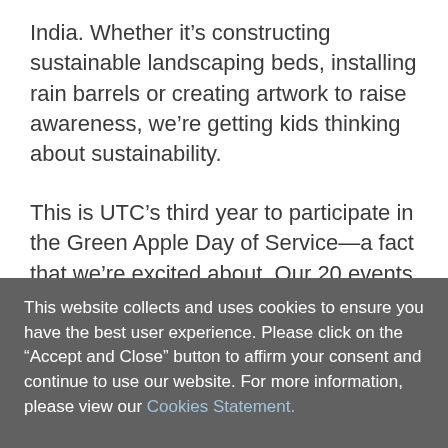India. Whether it’s constructing sustainable landscaping beds, installing rain barrels or creating artwork to raise awareness, we’re getting kids thinking about sustainability.
This is UTC’s third year to participate in the Green Apple Day of Service—a fact that we’re excited about. Our 20 events this year reached thousands of students, building on our work last year and the year before.
Now multiply that effort and think about what we can accomplish as a broader group. Together, all of us
This website collects and uses cookies to ensure you have the best user experience. Please click on the “Accept and Close” button to affirm your consent and continue to use our website. For more information, please view our Cookies Statement.